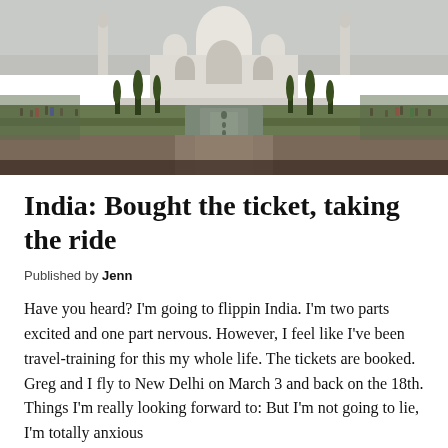[Figure (photo): Wide-angle photograph of the Taj Mahal in Agra, India, viewed from the front with the central reflecting pool leading to the main mausoleum. Cypress trees flank both sides, tourists are visible along the grounds, and the sky is overcast/hazy.]
India: Bought the ticket, taking the ride
Published by Jenn
Have you heard? I'm going to flippin India. I'm two parts excited and one part nervous. However, I feel like I've been travel-training for this my whole life. The tickets are booked. Greg and I fly to New Delhi on March 3 and back on the 18th. Things I'm really looking forward to: But I'm not going to lie, I'm totally anxious about a few things too.